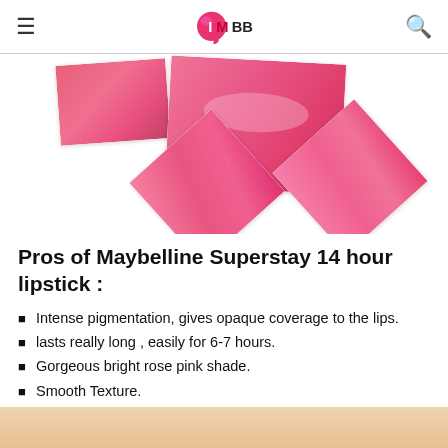IMBB
[Figure (photo): Collage of four photos showing pink/rose lipstick applied to lips, arranged at various angles with white photo-card borders]
Pros of Maybelline Superstay 14 hour lipstick :
Intense pigmentation, gives opaque coverage to the lips.
lasts really long , easily for 6-7 hours.
Gorgeous bright rose pink shade.
Smooth Texture.
[Figure (photo): Close-up photo of a person's face/skin, partially visible at the bottom of the page]